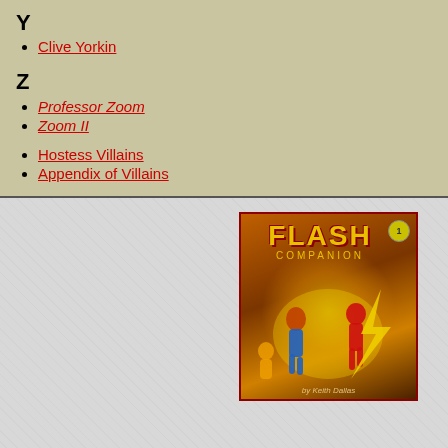Y
Clive Yorkin
Z
Professor Zoom
Zoom II
Hostess Villains
Appendix of Villains
[Figure (illustration): Book cover of The Flash Companion showing Flash characters running, with stylized Flash logo]
The Flash Companion
Preview at Speed Force
Order at TwoMorrows